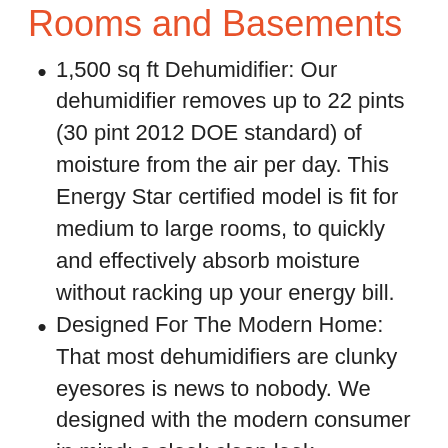Rooms and Basements
1,500 sq ft Dehumidifier: Our dehumidifier removes up to 22 pints (30 pint 2012 DOE standard) of moisture from the air per day. This Energy Star certified model is fit for medium to large rooms, to quickly and effectively absorb moisture without racking up your energy bill.
Designed For The Modern Home: That most dehumidifiers are clunky eyesores is news to nobody. We designed with the modern consumer in mind: a sleek clean look